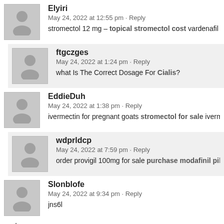Elyiri
May 24, 2022 at 12:55 pm · Reply
stromectol 12 mg – topical stromectol cost vardenafil
ftgczges
May 24, 2022 at 1:24 pm · Reply
what Is The Correct Dosage For Cialis?
EddieDuh
May 24, 2022 at 1:38 pm · Reply
ivermectin for pregnant goats stromectol for sale iverm
wdprldcp
May 24, 2022 at 7:59 pm · Reply
order provigil 100mg for sale purchase modafinil pill o
Slonblofe
May 24, 2022 at 9:34 pm · Reply
jns6l
ousku